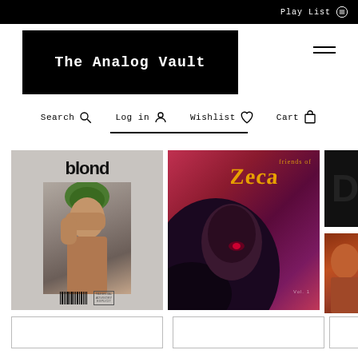Play List
The Analog Vault
Search  Log in  Wishlist  Cart
[Figure (photo): Album cover: blond by Frank Ocean - grey background with person covering face, green hair, bold black text 'blond' at top]
[Figure (photo): Album cover: Zeca Pagodinho Vol.1 - vibrant red/purple background with illustrated person with curly hair, yellow stylized text]
[Figure (photo): Partial album cover - dark background with large letter D visible]
[Figure (photo): Partial album cover - warm brown/orange tones, bottom right of grid]